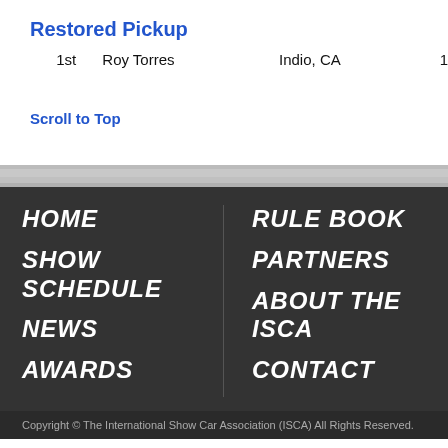Restored Pickup
| Place | Name | Location | Number |
| --- | --- | --- | --- |
| 1st | Roy Torres | Indio, CA | 1 |
Scroll to Top
HOME
RULE BOOK
SHOW SCHEDULE
PARTNERS
NEWS
ABOUT THE ISCA
AWARDS
CONTACT
Copyright © The International Show Car Association (ISCA) All Rights Reserved.